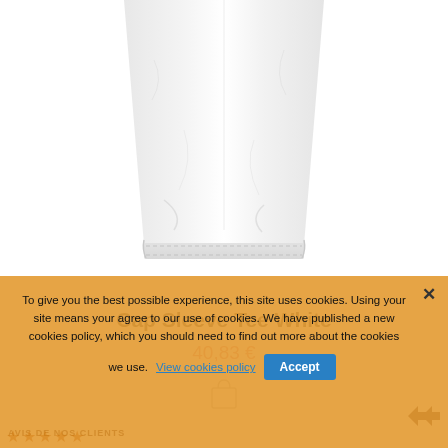[Figure (photo): Close-up of the bottom hem of a white cap sleeve t-shirt on a white background]
Cap Sleeve Tee White
40,83 €
[Figure (illustration): Shopping bag icon]
To give you the best possible experience, this site uses cookies. Using your site means your agree to our use of cookies. We have published a new cookies policy, which you should need to find out more about the cookies we use. View cookies policy  Accept